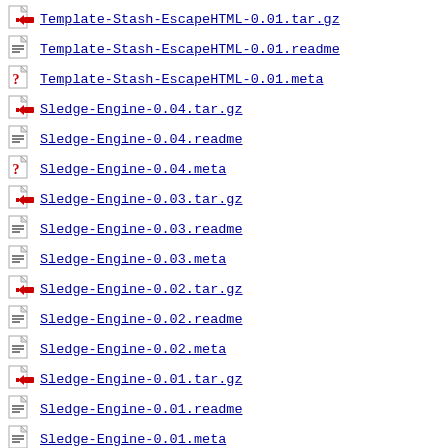Template-Stash-EscapeHTML-0.01.tar.gz
Template-Stash-EscapeHTML-0.01.readme
Template-Stash-EscapeHTML-0.01.meta
Sledge-Engine-0.04.tar.gz
Sledge-Engine-0.04.readme
Sledge-Engine-0.04.meta
Sledge-Engine-0.03.tar.gz
Sledge-Engine-0.03.readme
Sledge-Engine-0.03.meta
Sledge-Engine-0.02.tar.gz
Sledge-Engine-0.02.readme
Sledge-Engine-0.02.meta
Sledge-Engine-0.01.tar.gz
Sledge-Engine-0.01.readme
Sledge-Engine-0.01.meta
Search-Odeum-0.02.tar.gz
Search-Odeum-0.02.readme